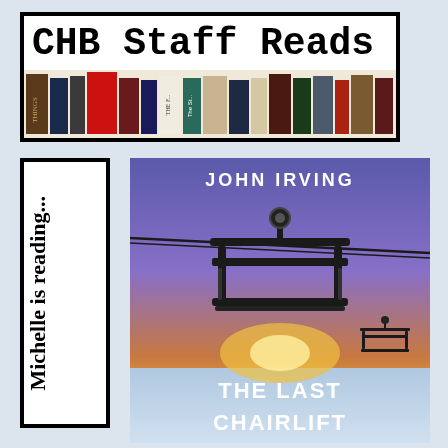[Figure (logo): CHB Staff Reads banner with text and row of books on a shelf]
[Figure (illustration): Vertical bookmark card with text 'Michelle is reading...' rotated 90 degrees]
[Figure (photo): Book cover of 'The Last Chairlift' by John Irving showing a ski chairlift at sunset]